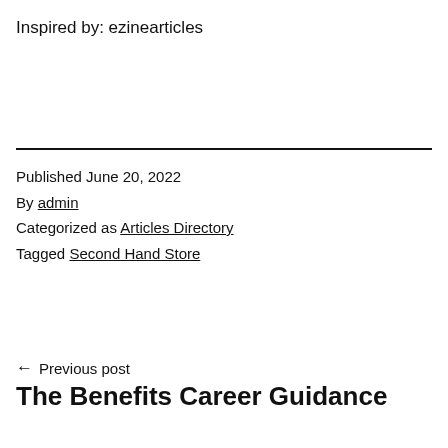Inspired by: ezinearticles
Published June 20, 2022
By admin
Categorized as Articles Directory
Tagged Second Hand Store
← Previous post
The Benefits Career Guidance